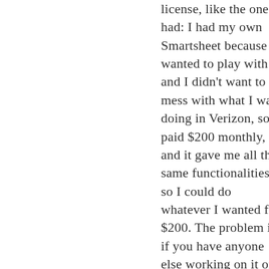license, like the one I had: I had my own Smartsheet because I wanted to play with it and I didn't want to mess with what I was doing in Verizon, so I paid $200 monthly, and it gave me all the same functionalities, so I could do whatever I wanted for $200. The problem is if you have anyone else working on it or deploying on it, it's $200 a month for every single person